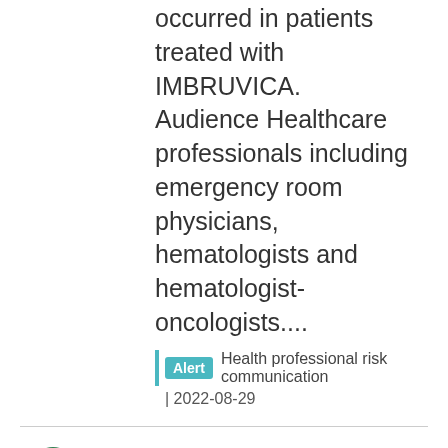occurred in patients treated with IMBRUVICA.   Audience Healthcare professionals including emergency room physicians, hematologists and hematologist-oncologists....
Alert  Health professional risk communication | 2022-08-29
NERFASIN 20: Affected lot may contain the presence of particles
Affected lot may contain the presence of particles
Recall  Health product recall | 2022-08-29